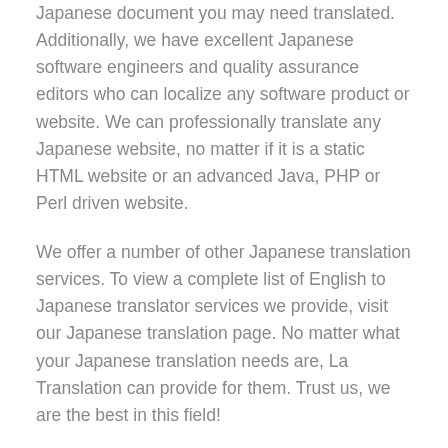Japanese document you may need translated. Additionally, we have excellent Japanese software engineers and quality assurance editors who can localize any software product or website. We can professionally translate any Japanese website, no matter if it is a static HTML website or an advanced Java, PHP or Perl driven website.
We offer a number of other Japanese translation services. To view a complete list of English to Japanese translator services we provide, visit our Japanese translation page. No matter what your Japanese translation needs are, La Translation can provide for them. Trust us, we are the best in this field!
Call us at 866-327-1004 for your needs to find Japanese translators and interpreters in Los Angeles, CA; Orange County, CA; New York, NY; Chicago, IL; San Francisco, CA; Atlanta, GA; Houston, TX; Washington, D.C.; Dallas, TX; Houston, TX;